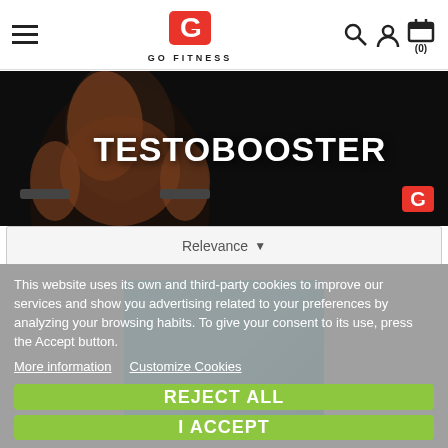GO FITNESS
[Figure (photo): Muscular bodybuilder with dumbbells on dark background, headline TESTOBOOSTER]
TESTOBOOSTER
Relevance
This website uses its own and third-party cookies to improve our services and show you advertising related to your preferences by analyzing your browsing habits. To give your consent to its use, press the Accept button.
More information   Customize Cookies
REJECT ALL
I ACCEPT